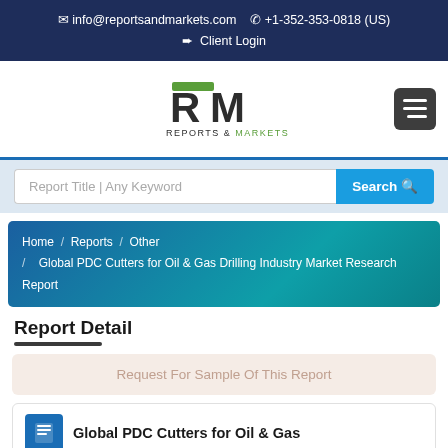✉ info@reportsandmarkets.com  ✆ +1-352-353-0818 (US)
➨ Client Login
[Figure (logo): Reports & Markets logo with green and dark grey RM letters]
Report Title | Any Keyword  Search
Home / Reports / Other / Global PDC Cutters for Oil & Gas Drilling Industry Market Research Report
Report Detail
Request For Sample Of This Report
Global PDC Cutters for Oil &